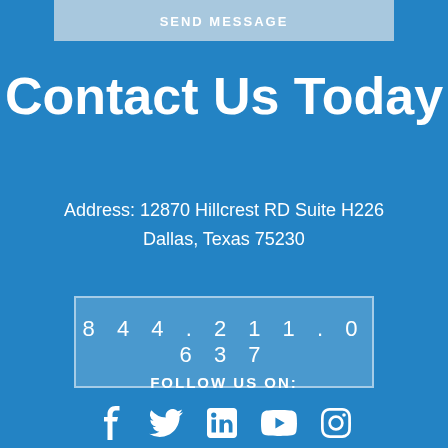SEND MESSAGE
Contact Us Today
Address: 12870 Hillcrest RD Suite H226
Dallas, Texas 75230
844.211.0637
FOLLOW US ON:
[Figure (illustration): Social media icons: Facebook, Twitter, LinkedIn, YouTube, Instagram]